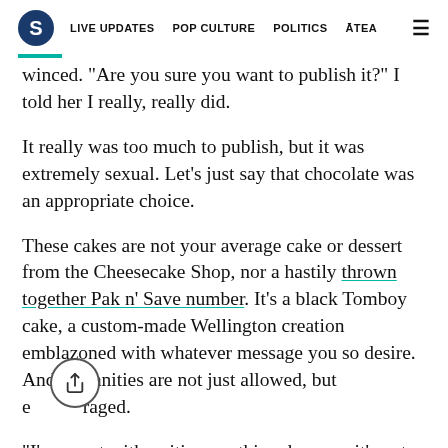S  LIVE UPDATES  POP CULTURE  POLITICS  ĀTEA  ☰
winced. "Are you sure you want to publish it?" I told her I really, really did.
It really was too much to publish, but it was extremely sexual. Let's just say that chocolate was an appropriate choice.
These cakes are not your average cake or dessert from the Cheesecake Shop, nor a hastily thrown together Pak n' Save number. It's a black Tomboy cake, a custom-made Wellington creation emblazoned with whatever message you so desire. And profanities are not just allowed, but encouraged.
"I'm sweet with writing anything, because it's not